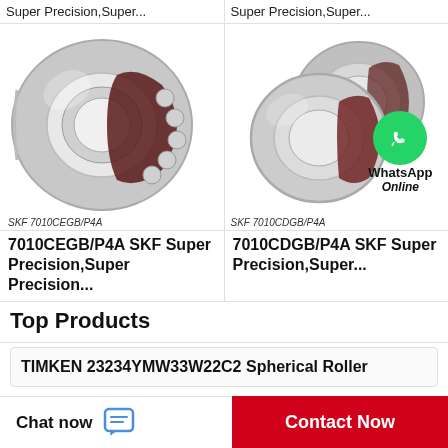Super Precision,Super...
Super Precision,Super...
[Figure (photo): SKF 7010CEGB/P4A angular contact ball bearing, single unit, silver and dark red/maroon cage]
[Figure (photo): SKF 7010CDGB/P4A angular contact ball bearings, two units overlapping, silver and maroon, with WhatsApp Online green bubble overlay]
SKF 7010CEGB/P4A
SKF 7010CDGB/P4A
WhatsApp Online
7010CEGB/P4A SKF Super Precision,Super Precision...
7010CDGB/P4A SKF Super Precision,Super...
Top Products
TIMKEN 23234YMW33W22C2 Spherical Roller
Chat now
Contact Now